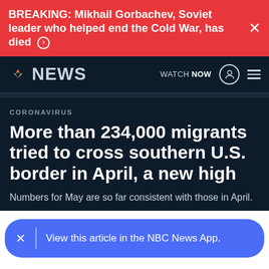BREAKING: Mikhail Gorbachev, Soviet leader who helped end the Cold War, has died
NBC NEWS — WATCH NOW
CORONAVIRUS
More than 234,000 migrants tried to cross southern U.S. border in April, a new high
Numbers for May are so far consistent with those in April.
View this article in the NBC News App.